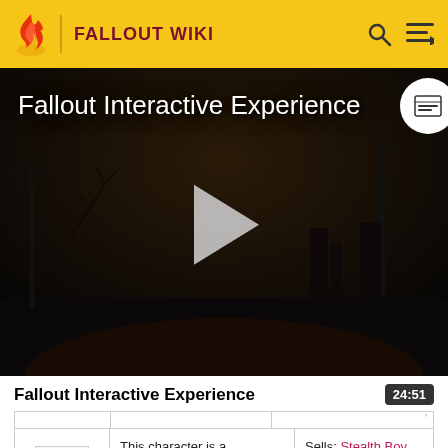FALLOUT WIKI
[Figure (screenshot): Video player showing dark post-apocalyptic scene with play button, titled 'Fallout Interactive Experience']
Fallout Interactive Experience
|  |  |  |
| --- | --- | --- |
| [image placeholder] | This character is a merchant. | Sells: Stealth Boy, grenades, Tinker Tom Special, combat armor |